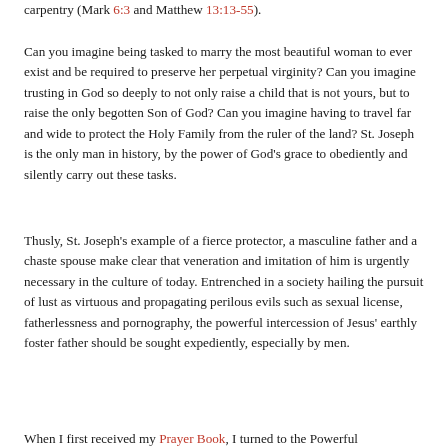carpentry (Mark 6:3 and Matthew 13:13-55).
Can you imagine being tasked to marry the most beautiful woman to ever exist and be required to preserve her perpetual virginity? Can you imagine trusting in God so deeply to not only raise a child that is not yours, but to raise the only begotten Son of God? Can you imagine having to travel far and wide to protect the Holy Family from the ruler of the land? St. Joseph is the only man in history, by the power of God's grace to obediently and silently carry out these tasks.
Thusly, St. Joseph's example of a fierce protector, a masculine father and a chaste spouse make clear that veneration and imitation of him is urgently necessary in the culture of today. Entrenched in a society hailing the pursuit of lust as virtuous and propagating perilous evils such as sexual license, fatherlessness and pornography, the powerful intercession of Jesus' earthly foster father should be sought expediently, especially by men.
When I first received my Prayer Book, I turned to the Powerful